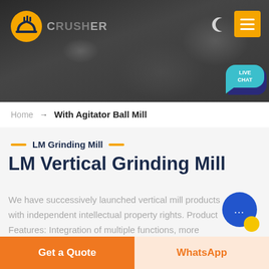[Figure (screenshot): Website header with dark rocky background, orange logo icon, crusher brand name, moon icon and yellow hamburger menu button top-right]
[Figure (illustration): Live chat speech bubble in teal/cyan color with text LIVE CHAT]
Home → With Agitator Ball Mill
— LM Grinding Mill —
LM Vertical Grinding Mill
We have successively launched vertical mill products with independent intellectual property rights. Product Features: Integration of multiple functions, more stable and reliable production and more excellent capacity
[Figure (illustration): Blue circular chat widget with ellipsis dots, small yellow circle below-right]
Get a Quote
WhatsApp